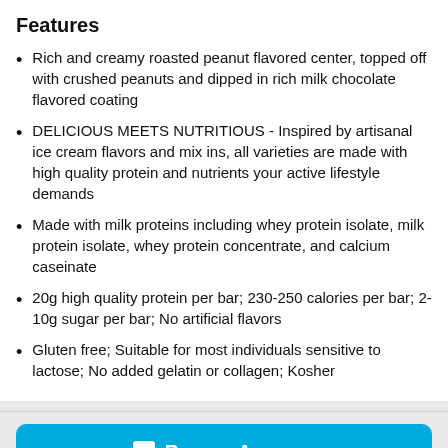Features
Rich and creamy roasted peanut flavored center, topped off with crushed peanuts and dipped in rich milk chocolate flavored coating
DELICIOUS MEETS NUTRITIOUS - Inspired by artisanal ice cream flavors and mix ins, all varieties are made with high quality protein and nutrients your active lifestyle demands
Made with milk proteins including whey protein isolate, milk protein isolate, whey protein concentrate, and calcium caseinate
20g high quality protein per bar; 230-250 calories per bar; 2-10g sugar per bar; No artificial flavors
Gluten free; Suitable for most individuals sensitive to lactose; No added gelatin or collagen; Kosher
Buy on Amazon
Start Watching